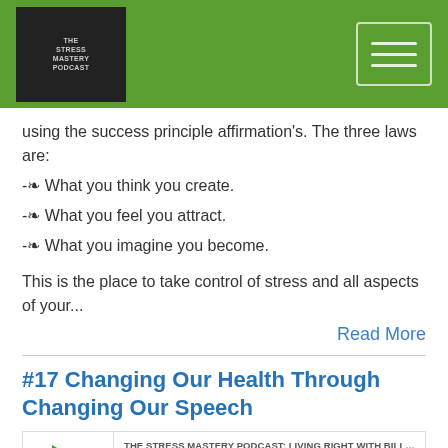[Figure (logo): The Stress Mastery Podcast logo on green header bar with hamburger menu icon]
using the success principle affirmation's. The three laws are:
-❧ What you think you create.
-❧ What you feel you attract.
-❧ What you imagine you become.
This is the place to take control of stress and all aspects of your...
Read More
#17 Changing Our Health Through Changing Our Speech
[Figure (screenshot): Podcast player widget showing episode #17 Changing Our Health Through Changing Our Speech from The Stress Mastery Podcast: Living Right with Bill Cortf, with play button, progress bar, and playback controls showing 00:00:00]
00:00:00